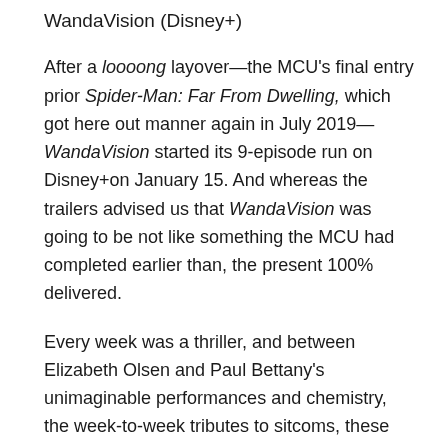WandaVision (Disney+)
After a loooong layover—the MCU's final entry prior Spider-Man: Far From Dwelling, which got here out manner again in July 2019—WandaVision started its 9-episode run on Disney+on January 15. And whereas the trailers advised us that WandaVision was going to be not like something the MCU had completed earlier than, the present 100% delivered.
Every week was a thriller, and between Elizabeth Olsen and Paul Bettany's unimaginable performances and chemistry, the week-to-week tributes to sitcoms, these perplexing pretend commercials, and a few catchy ass theme songs, WandaVision was a powerful success. We